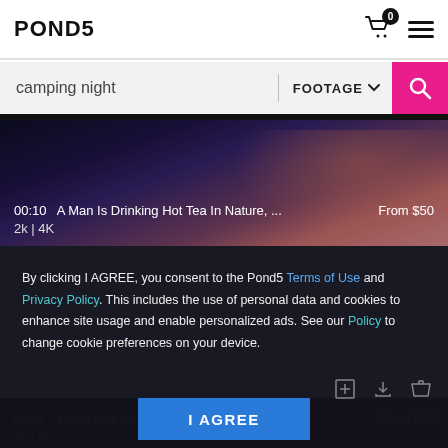POND5
camping night   FOOTAGE
[Figure (screenshot): Video thumbnail: dark blue/purple toned image of a man's face in nature at night. Text overlay: 00:10  A Man Is Drinking Hot Tea In Nature, ...  From $50  2k | 4K]
By clicking I AGREE, you consent to the Pond5 Terms of Use and Privacy Policy. This includes the use of personal data and cookies to enhance site usage and enable personalized ads. See our Policy to change cookie preferences on your device.
I AGREE
[Figure (screenshot): Video thumbnail dark: 00:22  Young Asia Co... Enjoy...  From $69  2k | 4K]